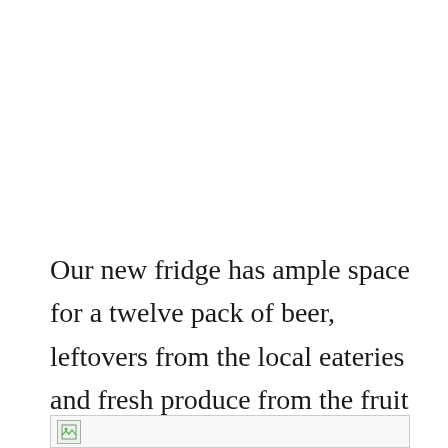Our new fridge has ample space for a twelve pack of beer, leftovers from the local eateries and fresh produce from the fruit stands. The important things.
[Figure (photo): A partially visible image placeholder at the bottom of the page, showing a broken/loading image icon.]